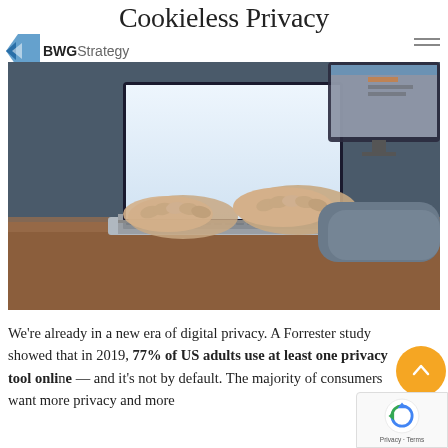Cookieless Privacy
[Figure (logo): BWGStrategy logo with blue diamond/arrow shape on left and 'BWGStrategy' text]
[Figure (photo): Person typing on a laptop keyboard, photographed from above and behind, warm indoor lighting, dark background screen visible]
We're already in a new era of digital privacy. A Forrester study showed that in 2019, 77% of US adults use at least one privacy tool online — and it's not by default. The majority of consumers want more privacy and more